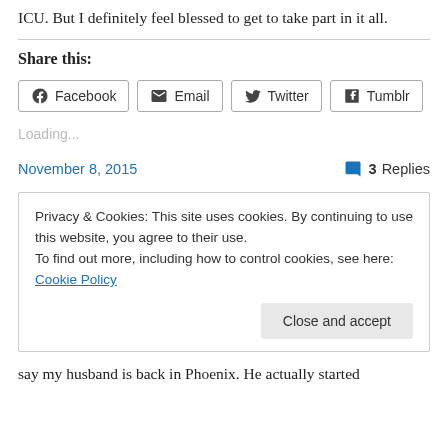ICU. But I definitely feel blessed to get to take part in it all.
Share this:
Facebook  Email  Twitter  Tumblr
Loading...
November 8, 2015   3 Replies
Privacy & Cookies: This site uses cookies. By continuing to use this website, you agree to their use.
To find out more, including how to control cookies, see here: Cookie Policy
Close and accept
say my husband is back in Phoenix. He actually started